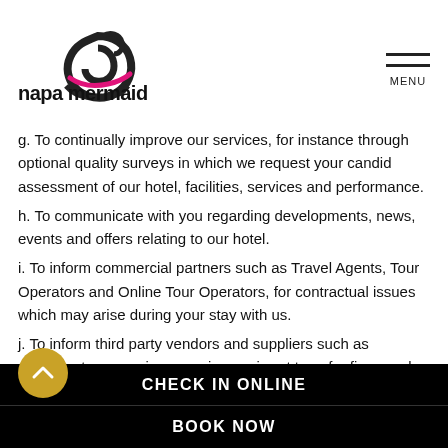[Figure (logo): Napa Mermaid Hotel & Suites logo — stylized mermaid spiral in black with pink accent and text 'napa mermaid HOTEL&SUITES']
g. To continually improve our services, for instance through optional quality surveys in which we request your candid assessment of our hotel, facilities, services and performance.
h. To communicate with you regarding developments, news, events and offers relating to our hotel.
i. To inform commercial partners such as Travel Agents, Tour Operators and Online Tour Operators, for contractual issues which may arise during your stay with us.
j. To inform third party vendors and suppliers such as restaurants, excursion organizers, airport transfer firms and similar parties, for services that you may have contracted with
CHECK IN ONLINE   BOOK NOW